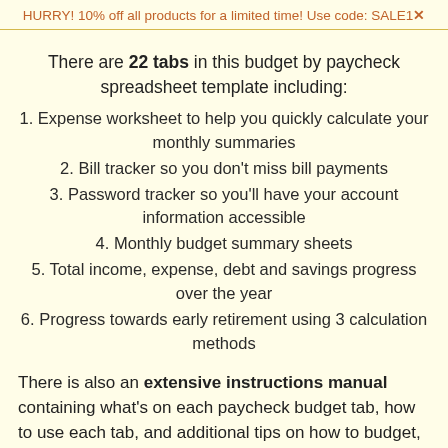HURRY! 10% off all products for a limited time! Use code: SALE1✕
There are 22 tabs in this budget by paycheck spreadsheet template including:
1. Expense worksheet to help you quickly calculate your monthly summaries
2. Bill tracker so you don't miss bill payments
3. Password tracker so you'll have your account information accessible
4. Monthly budget summary sheets
5. Total income, expense, debt and savings progress over the year
6. Progress towards early retirement using 3 calculation methods
There is also an extensive instructions manual containing what's on each paycheck budget tab, how to use each tab, and additional tips on how to budget, save and make more